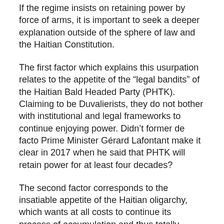If the regime insists on retaining power by force of arms, it is important to seek a deeper explanation outside of the sphere of law and the Haitian Constitution.
The first factor which explains this usurpation relates to the appetite of the “legal bandits” of the Haitian Bald Headed Party (PHTK). Claiming to be Duvalierists, they do not bother with institutional and legal frameworks to continue enjoying power. Didn’t former de facto Prime Minister Gérard Lafontant make it clear in 2017 when he said that PHTK will retain power for at least four decades?
The second factor corresponds to the insatiable appetite of the Haitian oligarchy, which wants at all costs to continue its process of accumulation and thus totally subjugate the urban and rural masses. This process only reinforces the Haitian bourgeoisie’s objective, which has always been to dispossess and exploit without the slightest consideration the working classes of Haitian society.
In the aftermath of Feb. 7, 2021, the date on which ended Jovenel’s constitutional mandate, the government not only launched a campaign of terror against all those who dared to criticize Moïse’s choice to remain in power, but it also announced